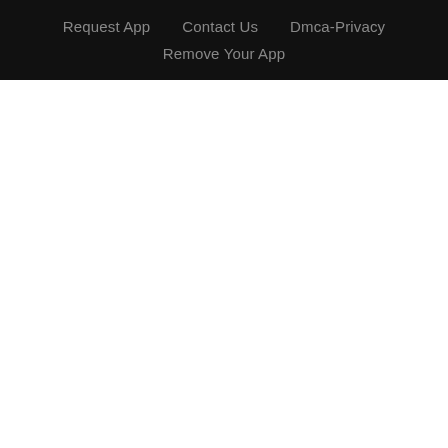Request App   Contact Us   Dmca-Privacy   Remove Your App